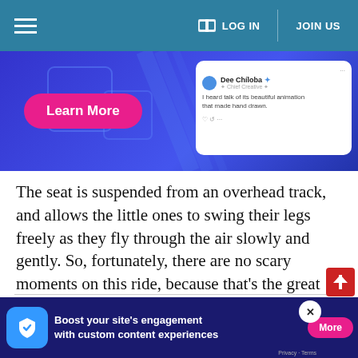LOG IN | JOIN US
[Figure (screenshot): Website advertisement banner with 'Learn More' pink button on blue background, and a social media card showing Dee Chiluba with text 'I heard talk of its beautiful animation that made hand drawn.']
The seat is suspended from an overhead track, and allows the little ones to swing their legs freely as they fly through the air slowly and gently. So, fortunately, there are no scary moments on this ride, because that's the great thing about Jurassic Park - it knows how to strike a balance between wonder and terror!
Jurassic Park River Adventure
[Figure (screenshot): Bottom advertisement banner: 'Boost your site's engagement with custom content experiences' with More button and privacy/terms links]